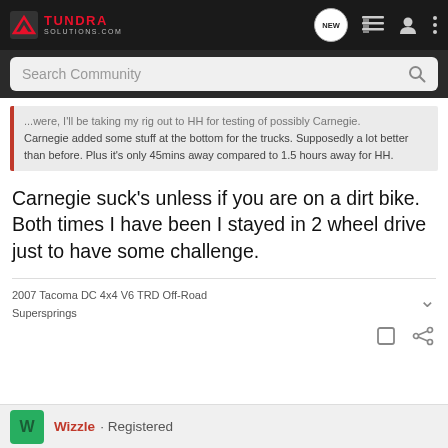TUNDRA SOLUTIONS.COM — Search Community
...were, I'll be taking my rig out to HH for testing of possibly Carnegie. Carnegie added some stuff at the bottom for the trucks. Supposedly a lot better than before. Plus it's only 45mins away compared to 1.5 hours away for HH.
Carnegie suck's unless if you are on a dirt bike. Both times I have been I stayed in 2 wheel drive just to have some challenge.
2007 Tacoma DC 4x4 V6 TRD Off-Road
Supersprings
Wizzle · Registered